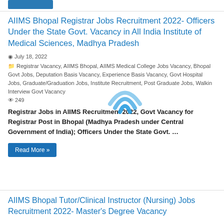AIIMS Bhopal Registrar Jobs Recruitment 2022- Officers Under the State Govt. Vacancy in All India Institute of Medical Sciences, Madhya Pradesh
July 18, 2022
Registrar Vacancy, AIIMS Bhopal, AIIMS Medical College Jobs Vacancy, Bhopal Govt Jobs, Deputation Basis Vacancy, Experience Basis Vacancy, Govt Hospital Jobs, Graduate/Graduation Jobs, Institute Recruitment, Post Graduate Jobs, Walkin Interview Govt Vacancy
249
Registrar Jobs in AIIMS Recruitment 2022, Govt Vacancy for Registrar Post in Bhopal (Madhya Pradesh under Central Government of India); Officers Under the State Govt. …
Read More »
AIIMS Bhopal Tutor/Clinical Instructor (Nursing) Jobs Recruitment 2022- Master's Degree Vacancy